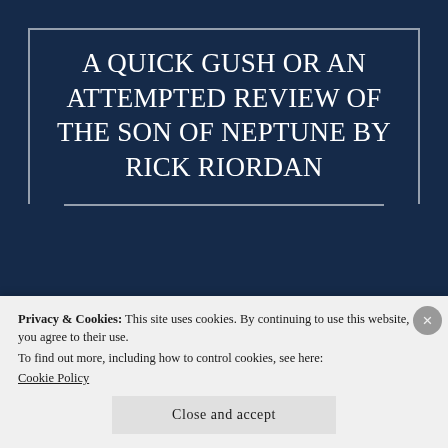A QUICK GUSH OR AN ATTEMPTED REVIEW OF THE SON OF NEPTUNE BY RICK RIORDAN
This book is the second book in the House of
Privacy & Cookies: This site uses cookies. By continuing to use this website, you agree to their use.
To find out more, including how to control cookies, see here:
Cookie Policy
Close and accept